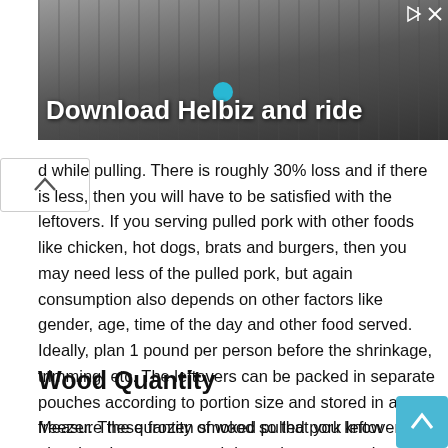[Figure (screenshot): Advertisement banner showing 'Download Helbiz and ride' text over a dark blurred background image of a scooter handlebar, with a play icon and X close button in top right corner.]
d while pulling. There is roughly 30% loss and if there is less, then you will have to be satisfied with the leftovers. If you serving pulled pork with other foods like chicken, hot dogs, brats and burgers, then you may need less of the pulled pork, but again consumption also depends on other factors like gender, age, time of the day and other food served. Ideally, plan 1 pound per person before the shrinkage, trimming, etc. The leftovers can be packed in separate pouches according to portion size and stored in a freezer. These frozen smoked pulled pork leftovers can play a rescue act on weekdays when you are just tired of cooking.
Wood Quantity
Measure the quantity of wood so that you know next time how